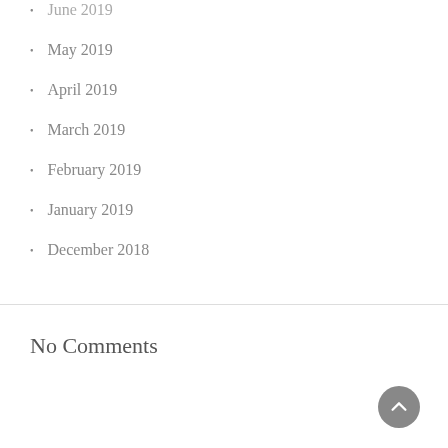June 2019
May 2019
April 2019
March 2019
February 2019
January 2019
December 2018
No Comments